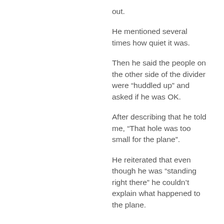out.
He mentioned several times how quiet it was.
Then he said the people on the other side of the divider were “huddled up” and asked if he was OK.
After describing that he told me, “That hole was too small for the plane”.
He reiterated that even though he was “standing right there” he couldn’t explain what happened to the plane.